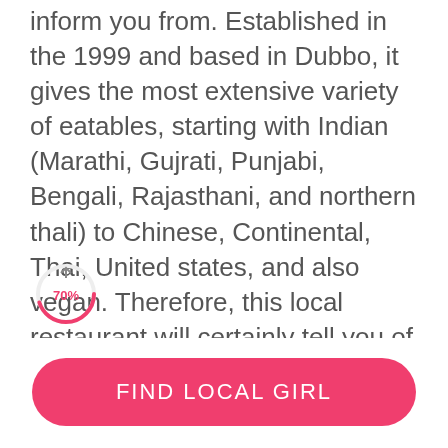inform you from. Established in the 1999 and based in Dubbo, it gives the most extensive variety of eatables, starting with Indian (Marathi, Gujrati, Punjabi, Bengali, Rajasthani, and northern thali) to Chinese, Continental, Thai, United states, and also vegan. Therefore, this local restaurant will certainly tell you of your hometown like you are visiting a foreign land if you are a visitor or make you feel. It is reasonably well-known for its great starters and sweets and services that are efficient. The price tag extends from as low as 30 to 100. Therefore, our gay restaurant in Dubbo is actually prepared for buyers of all the types of spending s. a number that is good of goods can be ent when it comes down to ones that do definitely not eat non-veg.
[Figure (donut-chart): Partial donut/progress circle showing 70% in pink]
FIND LOCAL GIRL